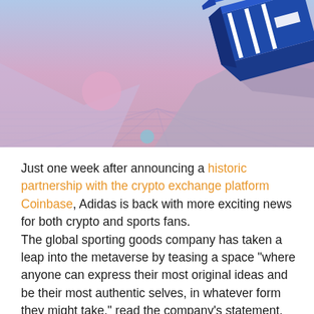[Figure (illustration): Illustration of a blue Adidas shoe box floating in a stylized metaverse/virtual landscape with pink and blue grid mountains, floating spheres, and a retro-futuristic aesthetic. The shoe box has white three-stripe Adidas branding.]
Just one week after announcing a historic partnership with the crypto exchange platform Coinbase, Adidas is back with more exciting news for both crypto and sports fans. The global sporting goods company has taken a leap into the metaverse by teasing a space "where anyone can express their most original ideas and be their most authentic selves, in whatever form they might take," read the company's statement. Lending a special focus to NFTs, the developers then went on to add, "And thanks to the blockchain [and NFTs], those pioneers can own a piece of